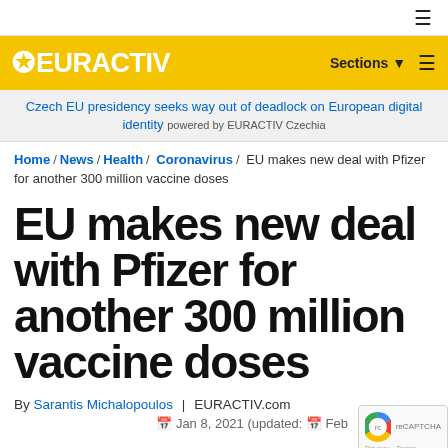☰
[Figure (logo): EURACTIV logo on yellow background with Sections and hamburger menu]
Czech EU presidency seeks way out of deadlock on European digital identity powered by EURACTIV Czechia
Home / News / Health / Coronavirus / EU makes new deal with Pfizer for another 300 million vaccine doses
EU makes new deal with Pfizer for another 300 million vaccine doses
By Sarantis Michalopoulos | EURACTIV.com
📅 Jan 8, 2021 (updated: 📅 Feb